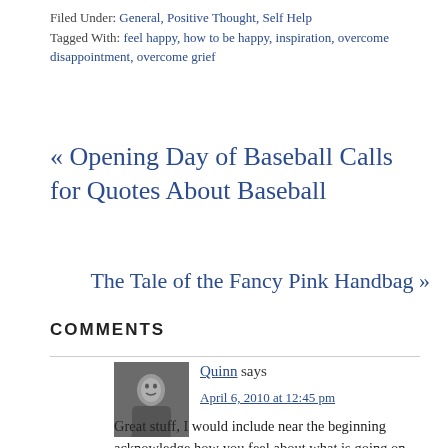Filed Under: General, Positive Thought, Self Help
Tagged With: feel happy, how to be happy, inspiration, overcome disappointment, overcome grief
« Opening Day of Baseball Calls for Quotes About Baseball
The Tale of the Fancy Pink Handbag »
COMMENTS
Quinn says
April 6, 2010 at 12:45 pm
Great stuff, I would include near the beginning acknowledge how you feel about what is going on. recognise and accept that you are sad